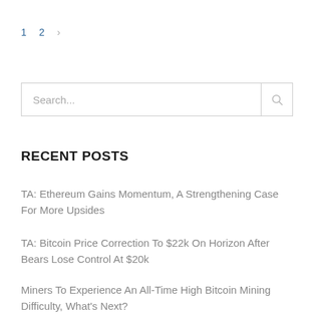1  2  >
Search...
RECENT POSTS
TA: Ethereum Gains Momentum, A Strengthening Case For More Upsides
TA: Bitcoin Price Correction To $22k On Horizon After Bears Lose Control At $20k
Miners To Experience An All-Time High Bitcoin Mining Difficulty, What's Next?